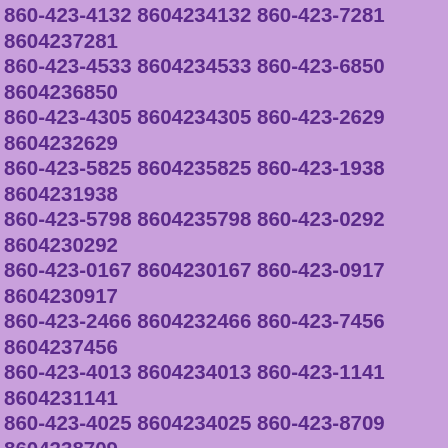860-423-4132 8604234132 860-423-7281 8604237281 860-423-4533 8604234533 860-423-6850 8604236850 860-423-4305 8604234305 860-423-2629 8604232629 860-423-5825 8604235825 860-423-1938 8604231938 860-423-5798 8604235798 860-423-0292 8604230292 860-423-0167 8604230167 860-423-0917 8604230917 860-423-2466 8604232466 860-423-7456 8604237456 860-423-4013 8604234013 860-423-1141 8604231141 860-423-4025 8604234025 860-423-8709 8604238709 860-423-0513 8604230513 860-423-2301 8604232301 860-423-4535 8604234535 860-423-2539 8604232539 860-423-9191 8604239191 860-423-4692 8604234692 860-423-9400 8604239400 860-423-7091 8604237091 860-423-5582 8604235582 860-423-0124 8604230124 860-423-0556 8604230556 860-423-7851 8604237851 860-423-4374 8604234374 860-423-6251 8604236251 860-423-3809 8604233809 860-423-1570 8604231570 860-423-4530 8604234530 860-423-4281 8604234281 860-423-9386 8604239386 860-423-4842 8604234842 860-423-4080 8604234080 860-423-8398 8604238398 860-423-4959 8604234959 860-423-6544 8604236544